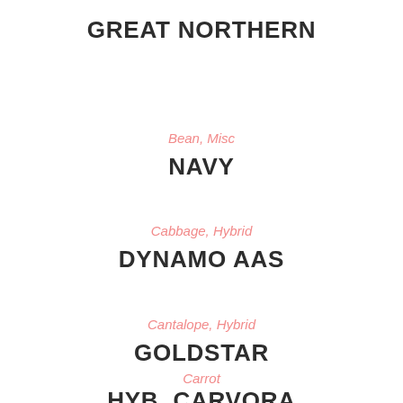GREAT NORTHERN
Bean, Misc
NAVY
Cabbage, Hybrid
DYNAMO AAS
Cantalope, Hybrid
GOLDSTAR
Carrot
HYB. CARVORA